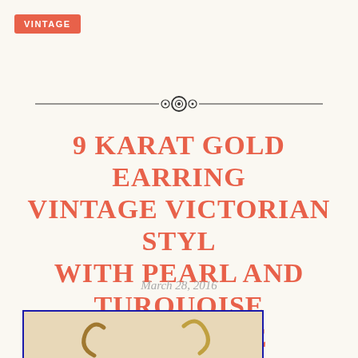VINTAGE
[Figure (illustration): Decorative horizontal divider with three concentric circle ornaments in the center flanked by tapering lines on each side]
9 KARAT GOLD EARRING VINTAGE VICTORIAN STYL WITH PEARL AND TURQUOISE HAND MADE
March 28, 2016
[Figure (photo): Photo of two vintage Victorian style 9 karat gold earrings with pearl and turquoise stones, shown with blue border frame]